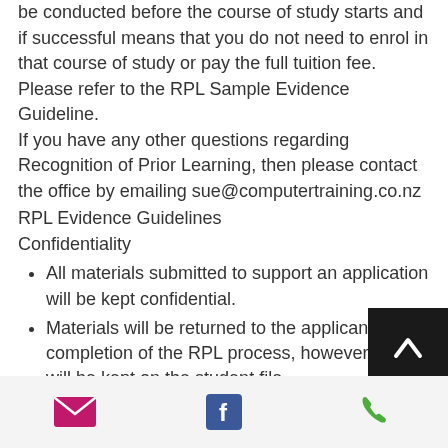be conducted before the course of study starts and if successful means that you do not need to enrol in that course of study or pay the full tuition fee. Please refer to the RPL Sample Evidence Guideline. If you have any other questions regarding Recognition of Prior Learning, then please contact the office by emailing sue@computertraining.co.nz
RPL Evidence Guidelines
Confidentiality
All materials submitted to support an application will be kept confidential.
Materials will be returned to the applicant on completion of the RPL process, however, copies will be kept on the student file.
You need to provide suitable evidence, as listed below, to support your application.
For each subject you wish Suele
email | facebook | phone